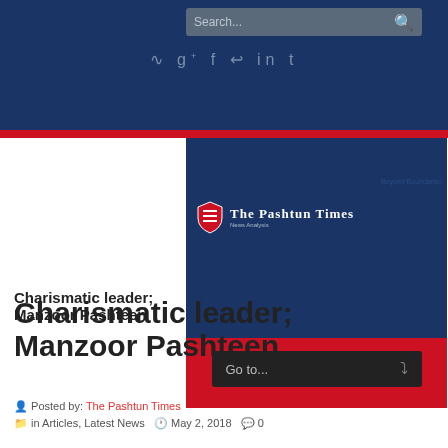Search... [search icon] | Social icons: RSS g+ f ↵ in t
[Figure (logo): The Pashtun Times logo with shield emblem on dark blue banner background, with red navigation bar containing 'Go to...' dropdown]
Charismatic leader; Manzoor Pashteen
Posted by: The Pashtun Times  in Articles, Latest News   May 2, 2018   0
Charismatic leader; Manzoor Pashteen